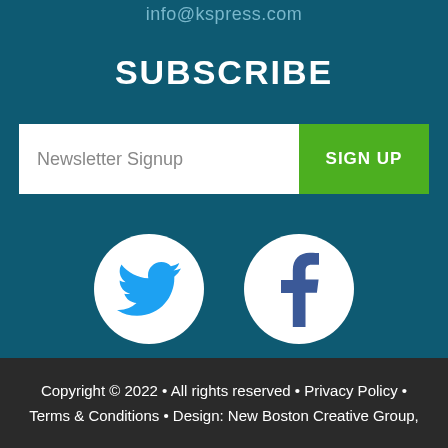info@kspress.com
SUBSCRIBE
Newsletter Signup   SIGN UP
[Figure (logo): Twitter bird logo in blue inside a white circle]
[Figure (logo): Facebook 'f' logo in dark blue inside a white circle]
Copyright © 2022 • All rights reserved • Privacy Policy • Terms & Conditions • Design: New Boston Creative Group,